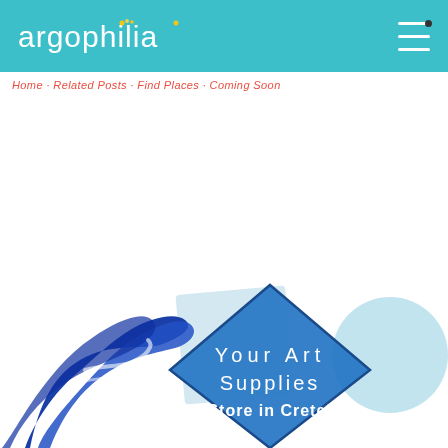[Figure (logo): Argophilia logo on teal header bar with hamburger menu icon]
Home · Related Posts · Find Places · Coming Soon
[Figure (illustration): Art supplies store promotional graphic with blue paint brush strokes, diamond shape, light blue square and circle, with text 'Your Art Supplies Store in Crete!']